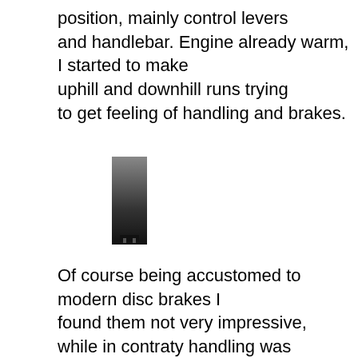position, mainly control levers and handlebar. Engine already warm, I started to make uphill and downhill runs trying to get feeling of handling and brakes.
[Figure (photo): A small dark rectangular image, appearing to be a close-up photo of a motorcycle component or similar object, with a gradient from grey to black.]
Of course being accustomed to modern disc brakes I found them not very impressive, while in contraty handling was excellent ! It must be another trick by Maestro SAMMY and his knowledge to design trials frames ! Bike was very stable, easy to control and easy to manouvre. Also in turns was razor sharp and precise. Much credit must go Also  to good suspension as well as to geometry of frame with it's short wheelbase and well positioned center of gravity makes bike so easy